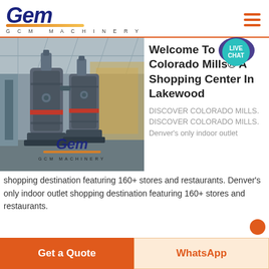[Figure (logo): GCM Machinery logo with stylized italic text in dark blue, orange/gold underline arc, and 'GCM MACHINERY' subtitle]
[Figure (photo): Industrial machinery photo showing large grinding mill equipment in a factory, with GCM Machinery logo watermark overlay at bottom center]
Welcome To Colorado Mills® A Shopping Center In Lakewood
DISCOVER COLORADO MILLS. DISCOVER COLORADO MILLS. Denver's only indoor outlet shopping destination featuring 160+ stores and restaurants. Denver's only indoor outlet shopping destination featuring 160+ stores and restaurants.
Get a Quote
WhatsApp